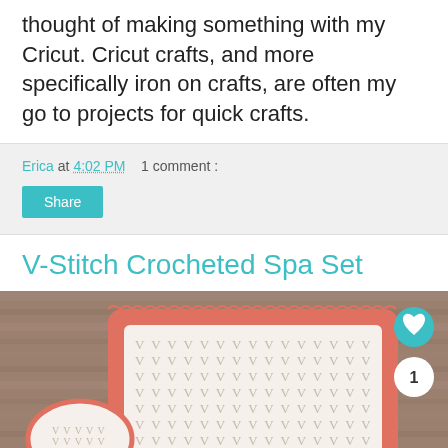thought of making something with my Cricut. Cricut crafts, and more specifically iron on crafts, are often my go to projects for quick crafts.
Erica at 4:02 PM   1 comment :
Share
V-Stitch Crocheted Spa Set
[Figure (photo): A crocheted spa set with white v-stitch pattern and coral/salmon border, displayed on a wooden surface. A small crocheted item is visible in the lower left. A heart/save button and count button overlay the image.]
SHE CAN STEM